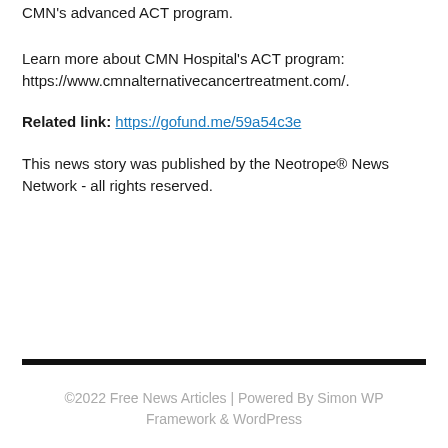CMN's advanced ACT program.
Learn more about CMN Hospital's ACT program: https://www.cmnalternativecancertreatment.com/.
Related link: https://gofund.me/59a54c3e
This news story was published by the Neotrope® News Network - all rights reserved.
©2022 Free News Articles | Powered By Simon WP Framework & WordPress